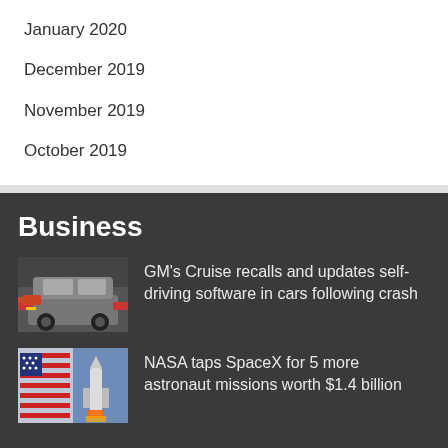January 2020
December 2019
November 2019
October 2019
Business
[Figure (photo): White and red self-driving car (GM Cruise vehicle) on a street]
GM's Cruise recalls and updates self-driving software in cars following crash
[Figure (photo): American flag with a rocket launching in the background]
NASA taps SpaceX for 5 more astronaut missions worth $1.4 billion